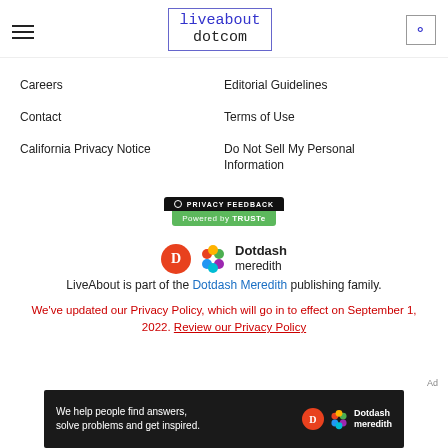liveabout dotcom
Careers
Editorial Guidelines
Contact
Terms of Use
California Privacy Notice
Do Not Sell My Personal Information
[Figure (logo): Privacy Feedback badge powered by TRUSTe]
[Figure (logo): Dotdash Meredith logo]
LiveAbout is part of the Dotdash Meredith publishing family.
We've updated our Privacy Policy, which will go in to effect on September 1, 2022. Review our Privacy Policy
[Figure (screenshot): Dotdash Meredith advertisement banner: We help people find answers, solve problems and get inspired.]